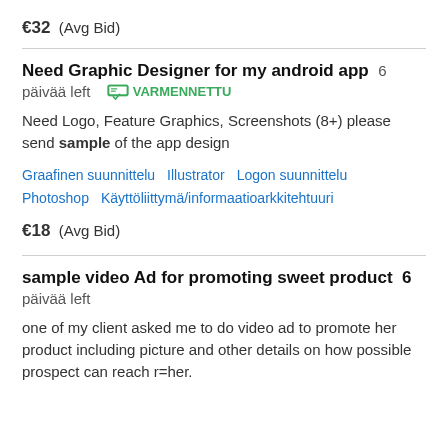€32  (Avg Bid)
Need Graphic Designer for my android app  6 päivää left  VARMENNETTU
Need Logo, Feature Graphics, Screenshots (8+) please send sample of the app design
Graafinen suunnittelu   Illustrator   Logon suunnittelu   Photoshop   Käyttöliittymä/informaatioarkkitehtuuri
€18  (Avg Bid)
sample video Ad for promoting sweet product  6 päivää left
one of my client asked me to do video ad to promote her product including picture and other details on how possible prospect can reach r=her.